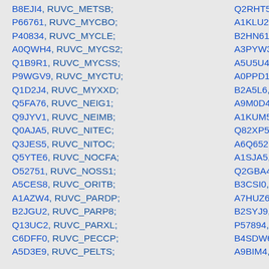B8EJI4, RUVC_METSB; Q2RHT5,
P66761, RUVC_MYCBO; A1KLU2,
P40834, RUVC_MYCLE; B2HN61,
A0QWH4, RUVC_MYCS2; A3PYW3,
Q1B9R1, RUVC_MYCSS; A5U5U4,
P9WGV9, RUVC_MYCTU; A0PPD1,
Q1D2J4, RUVC_MYXXD; B2A5L6,
Q5FA76, RUVC_NEIG1; A9M0D4,
Q9JYV1, RUVC_NEIMB; A1KUM5,
Q0AJA5, RUVC_NITEC; Q82XP5,
Q3JES5, RUVC_NITOC; A6Q652,
Q5YTE6, RUVC_NOCFA; A1SJA5,
O52751, RUVC_NOSS1; Q2GBA4,
A5CES8, RUVC_ORITB; B3CSI0,
A1AZW4, RUVC_PARDP; A7HUZ6,
B2JGU2, RUVC_PARP8; B2SYJ9,
Q13UC2, RUVC_PARXL; P57894,
C6DFF0, RUVC_PECCP; B4SDW6
A5D3E9, RUVC_PELTS; A9BIM4,